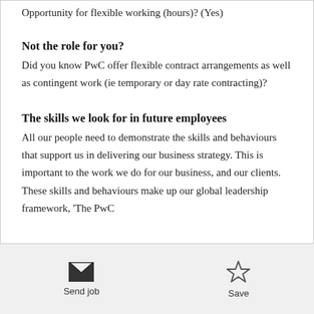Opportunity for flexible working (hours)? (Yes)
Not the role for you?
Did you know PwC offer flexible contract arrangements as well as contingent work (ie temporary or day rate contracting)?
The skills we look for in future employees
All our people need to demonstrate the skills and behaviours that support us in delivering our business strategy. This is important to the work we do for our business, and our clients. These skills and behaviours make up our global leadership framework, 'The PwC
Send job  Save